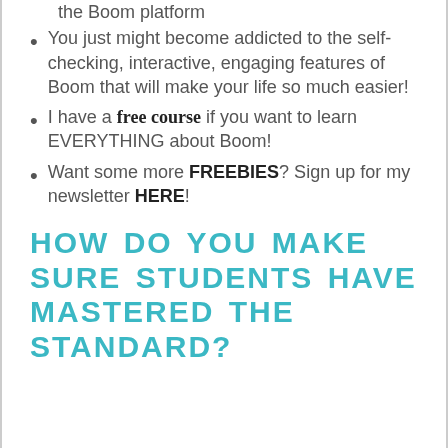the Boom platform
You just might become addicted to the self-checking, interactive, engaging features of Boom that will make your life so much easier!
I have a free course if you want to learn EVERYTHING about Boom!
Want some more FREEBIES? Sign up for my newsletter HERE!
HOW DO YOU MAKE SURE STUDENTS HAVE MASTERED THE STANDARD?